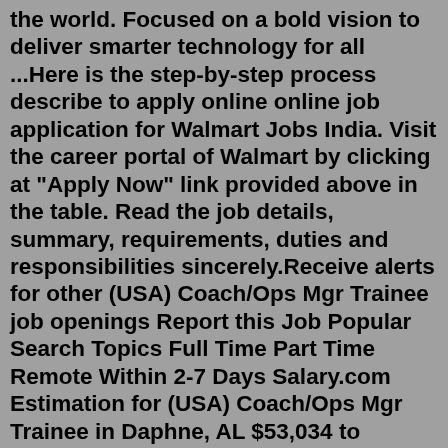the world. Focused on a bold vision to deliver smarter technology for all ...Here is the step-by-step process describe to apply online online job application for Walmart Jobs India. Visit the career portal of Walmart by clicking at "Apply Now" link provided above in the table. Read the job details, summary, requirements, duties and responsibilities sincerely.Receive alerts for other (USA) Coach/Ops Mgr Trainee job openings Report this Job Popular Search Topics Full Time Part Time Remote Within 2-7 Days Salary.com Estimation for (USA) Coach/Ops Mgr Trainee in Daphne, AL $53,034 to $80,752 Sign up to receive alerts about other jobs that are on the (USA) Coach/Ops Mgr Trainee career path.May 09, 2019 · A full-time hourly worker in a Walmart store in the U.S. makes an average of $14.26 an hour, or around $25,000 a year, according to the company's 2019 Environmental, Social & Governance Report ... If none are listed, there are no minimum qualifications. 2 years' of college; OR 1 year's retail